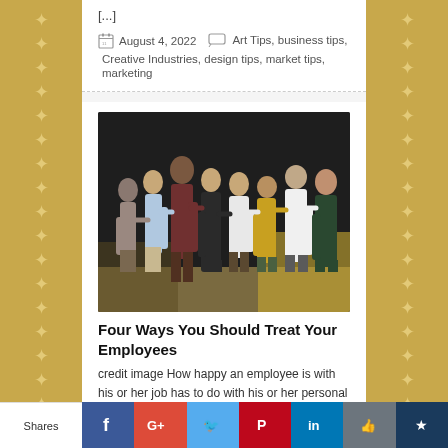[...]
August 4, 2022  Art Tips, business tips, Creative Industries, design tips, market tips, marketing
[Figure (photo): Group of people standing with arms around each other, viewed from behind, in front of a dark wall]
Four Ways You Should Treat Your Employees
credit image How happy an employee is with his or her job has to do with his or her personal satisfaction. The success of a
Shares  Facebook  Google+  Twitter  Pinterest  LinkedIn  Like  Bookmark